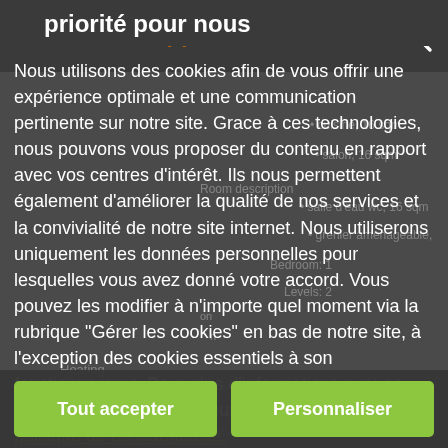+33(0) 60 93 85 22 7
priorité pour nous
Nous utilisons des cookies afin de vous offrir une expérience optimale et une communication pertinente sur notre site. Grace à ces technologies, nous pouvons vous proposer du contenu en rapport avec vos centres d'intérêt. Ils nous permettent également d'améliorer la qualité de nos services et la convivialité de notre site internet. Nous utiliserons uniquement les données personnelles pour lesquelles vous avez donné votre accord. Vous pouvez les modifier à n'importe quel moment via la rubrique "Gérer les cookies" en bas de notre site, à l'exception des cookies essentiels à son fonctionnement. Pour plus d'informations sur vos données personnelles, veuillez consulter notre politique de confidentialité.
Tout accepter
Personnaliser